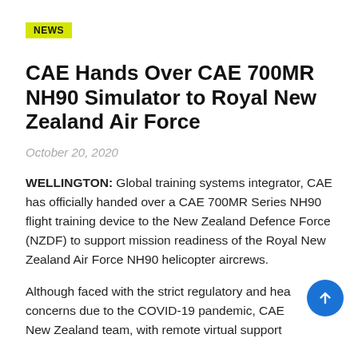NEWS
CAE Hands Over CAE 700MR NH90 Simulator to Royal New Zealand Air Force
October 20, 2020
WELLINGTON: Global training systems integrator, CAE has officially handed over a CAE 700MR Series NH90 flight training device to the New Zealand Defence Force (NZDF) to support mission readiness of the Royal New Zealand Air Force NH90 helicopter aircrews.
Although faced with the strict regulatory and health concerns due to the COVID-19 pandemic, CAE New Zealand team, with remote virtual support